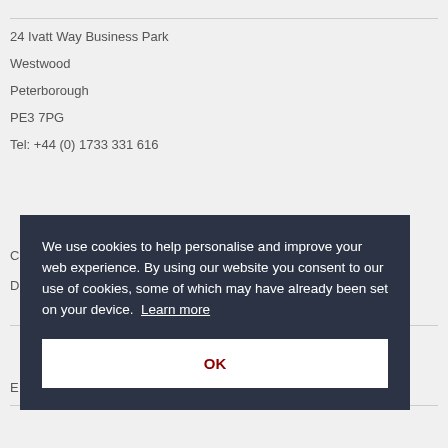24 Ivatt Way Business Park
Westwood
Peterborough
PE3 7PG
Tel: +44 (0) 1733 331 616
C
D
[Figure (screenshot): Cookie consent overlay with dark background. Text reads: 'We use cookies to help personalise and improve your web experience. By using our website you consent to our use of cookies, some of which may have already been set on your device. Learn more'. Below is a white OK button with dark red text.]
E